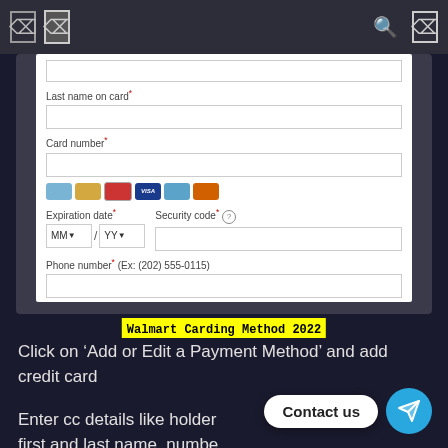[Figure (screenshot): Walmart checkout credit card payment form screenshot showing fields for Last name on card, Card number, payment card icons (Visa, Mastercard, Amex, Discover, etc.), Expiration date (MM/YY dropdowns), Security code, and Phone number fields on a dark background]
Walmart Carding Method 2022
Click on ‘Add or Edit a Payment Method’ and add credit card
Enter cc details like holder first and last name, number, expiry date and billing address